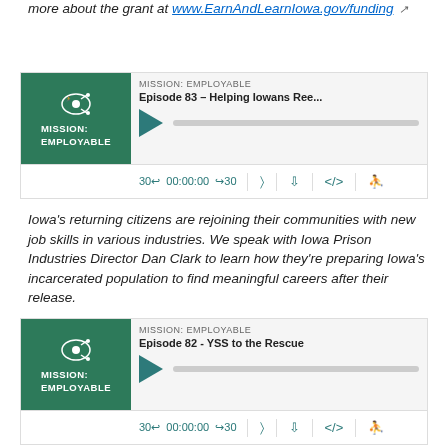more about the grant at www.EarnAndLearnIowa.gov/funding
[Figure (screenshot): Podcast player widget for Mission: Employable Episode 83 – Helping Iowans Ree...]
Iowa's returning citizens are rejoining their communities with new job skills in various industries. We speak with Iowa Prison Industries Director Dan Clark to learn how they're preparing Iowa's incarcerated population to find meaningful careers after their release.
[Figure (screenshot): Podcast player widget for Mission: Employable Episode 82 - YSS to the Rescue]